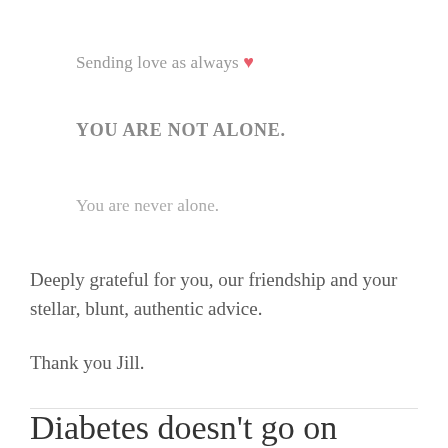Sending love as always ❤
YOU ARE NOT ALONE.
You are never alone.
Deeply grateful for you, our friendship and your stellar, blunt, authentic advice.
Thank you Jill.
Diabetes doesn't go on